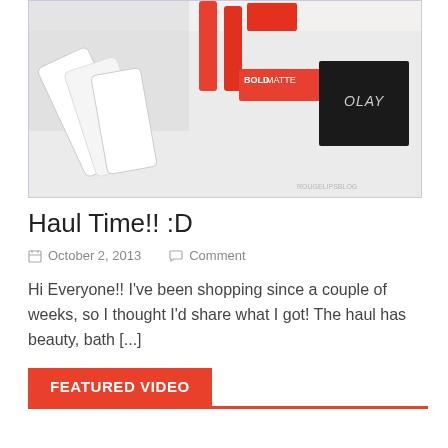[Figure (photo): Flat lay photo of beauty products including a BOLD MATTE lip product, an OLAY box, and other cosmetic tubes on a white surface. Watermark reads 'rougelipsblog' in bottom right corner.]
Haul Time!! :D
October 2, 2013   Comment
Hi Everyone!! I've been shopping since a couple of weeks, so I thought I'd share what I got! The haul has beauty, bath [...]
FEATURED VIDEO